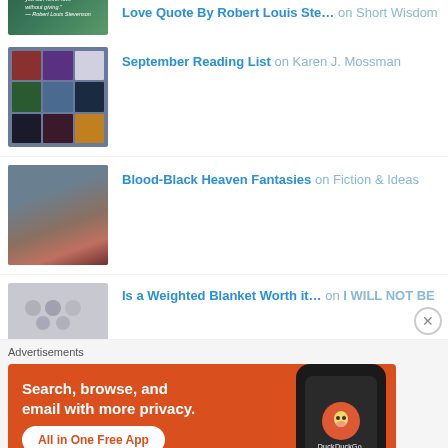Love Quote By Robert Louis Ste... on Short Wisdom
September Reading List on Karen J. Mossman
Blood-Black Heaven Fantasies on Fiction & Ideas
Is a Weighted Blanket Worth it... on I WILL NOT BE
Advertisements
[Figure (screenshot): DuckDuckGo advertisement banner: orange background with text 'Search, browse, and email with more privacy. All in One Free App' and a phone showing the DuckDuckGo logo]